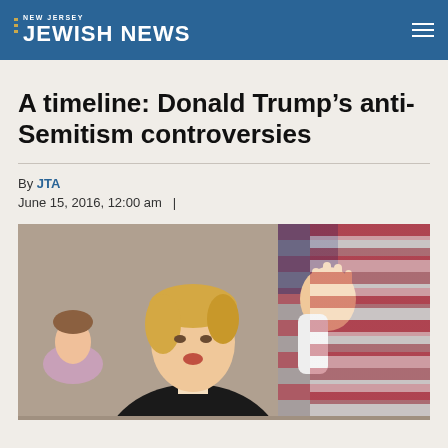New Jersey Jewish News
A timeline: Donald Trump’s anti-Semitism controversies
By JTA
June 15, 2016, 12:00 am  |
[Figure (photo): Photo of Donald Trump gesturing with his right hand raised, palm out, in front of an American flag, with a woman partially visible to his left]